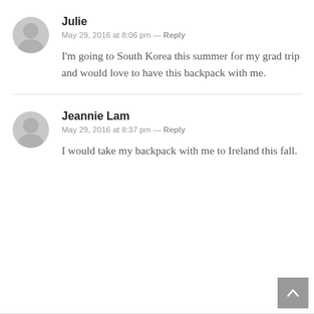Julie
May 29, 2016 at 8:06 pm — Reply
I'm going to South Korea this summer for my grad trip and would love to have this backpack with me.
Jeannie Lam
May 29, 2016 at 8:37 pm — Reply
I would take my backpack with me to Ireland this fall.